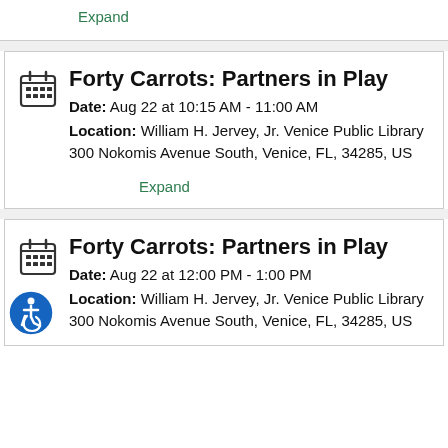Expand
Forty Carrots: Partners in Play
Date: Aug 22 at 10:15 AM - 11:00 AM
Location: William H. Jervey, Jr. Venice Public Library 300 Nokomis Avenue South, Venice, FL, 34285, US
Expand
Forty Carrots: Partners in Play
Date: Aug 22 at 12:00 PM - 1:00 PM
Location: William H. Jervey, Jr. Venice Public Library 300 Nokomis Avenue South, Venice, FL, 34285, US